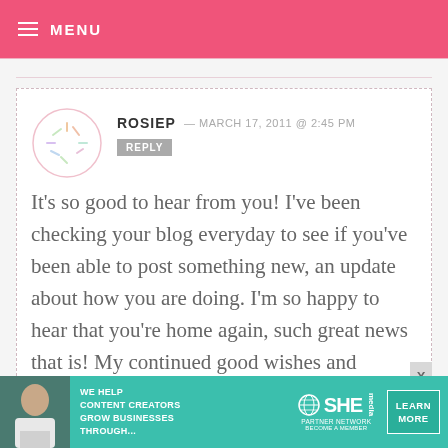MENU
ROSIEP — MARCH 17, 2011 @ 2:45 PM  REPLY

It's so good to hear from you! I've been checking your blog everyday to see if you've been able to post something new, an update about how you are doing. I'm so happy to hear that you're home again, such great news that is! My continued good wishes and prayers that a donor will found quickly
[Figure (infographic): SHE Media Partner Network advertisement banner at bottom — teal background with text 'WE HELP CONTENT CREATORS GROW BUSINESSES THROUGH...' and logo and LEARN MORE button]